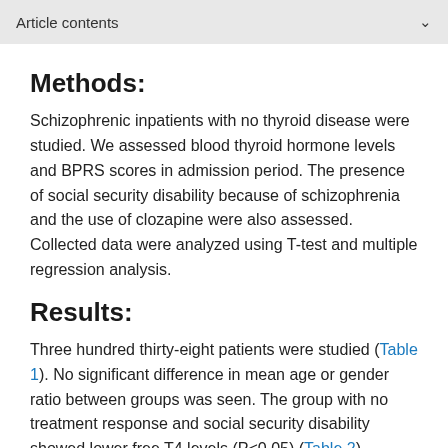Article contents
Methods:
Schizophrenic inpatients with no thyroid disease were studied. We assessed blood thyroid hormone levels and BPRS scores in admission period. The presence of social security disability because of schizophrenia and the use of clozapine were also assessed. Collected data were analyzed using T-test and multiple regression analysis.
Results:
Three hundred thirty-eight patients were studied (Table 1). No significant difference in mean age or gender ratio between groups was seen. The group with no treatment response and social security disability showed lower free T4 levels (P<0.05) (Table 2).